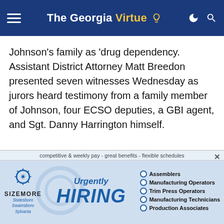The Georgia Virtue
Johnson's family as 'drug dependency. Assistant District Attorney Matt Breedon presented seven witnesses Wednesday as jurors heard testimony from a family member of Johnson, four ECSO deputies, a GBI agent, and Sgt. Danny Harrington himself.
[Figure (infographic): Sizemore Urgently Hiring advertisement banner. Text: 'competitive & weekly pay - great benefits - flexible schedules'. Logo: SIZEMORE with locations Statesboro, Swainsboro, Sylvania. Large text: 'Urgently HIRING'. Job listings: Assemblers, Manufacturing Operators, Trim Press Operators, Manufacturing Technicians, Production Associates.]